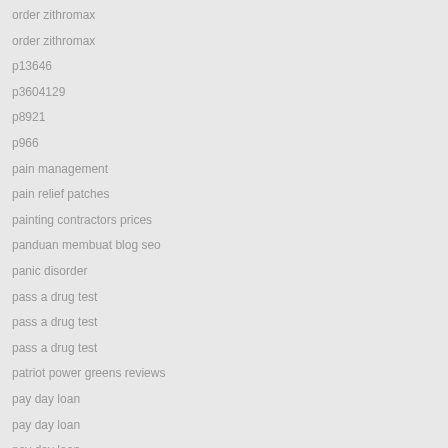order zithromax
order zithromax
p13646
p3604129
p8921
p966
pain management
pain relief patches
painting contractors prices
panduan membuat blog seo
panic disorder
pass a drug test
pass a drug test
pass a drug test
patriot power greens reviews
pay day loan
pay day loan
pay day loan
pay day loan